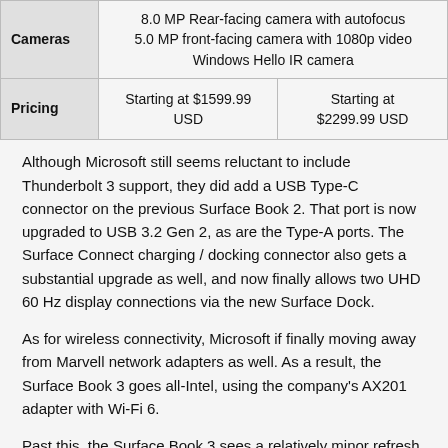|  |  |  |
| --- | --- | --- |
| Cameras | 8.0 MP Rear-facing camera with autofocus
5.0 MP front-facing camera with 1080p video
Windows Hello IR camera |  |
| Pricing | Starting at $1599.99 USD | Starting at $2299.99 USD |
Although Microsoft still seems reluctant to include Thunderbolt 3 support, they did add a USB Type-C connector on the previous Surface Book 2. That port is now upgraded to USB 3.2 Gen 2, as are the Type-A ports. The Surface Connect charging / docking connector also gets a substantial upgrade as well, and now finally allows two UHD 60 Hz display connections via the new Surface Dock.
As for wireless connectivity, Microsoft if finally moving away from Marvell network adapters as well. As a result, the Surface Book 3 goes all-Intel, using the company's AX201 adapter with Wi-Fi 6.
Past this, the Surface Book 3 sees a relatively minor refresh for 2020, with no cosmetic changes, but certainly welcome changes under the hood. When the Surface Book first launched, it was one of the most interesting laptops on the market. Now, five years later,